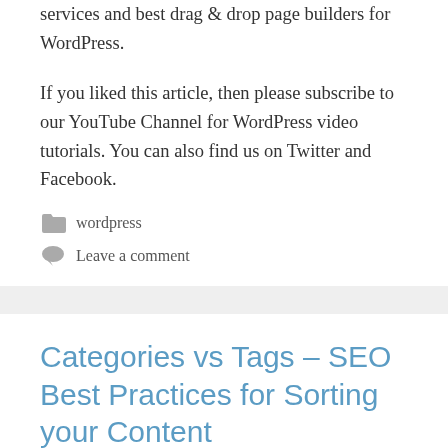services and best drag & drop page builders for WordPress.
If you liked this article, then please subscribe to our YouTube Channel for WordPress video tutorials. You can also find us on Twitter and Facebook.
wordpress
Leave a comment
Categories vs Tags – SEO Best Practices for Sorting your Content
by sarah